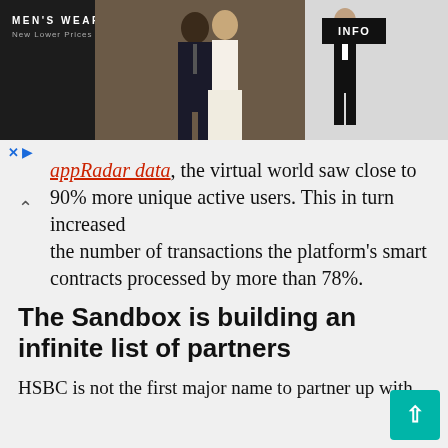[Figure (photo): Men's Wearhouse advertisement banner. Dark background on left with logo text 'MEN'S WEARHOUSE® New Lower Prices'. Center shows a couple in formal attire (man in dark suit with tie, woman in light dress). Right side shows a man in a tuxedo on light grey background with a black INFO button.]
appRadar data, the virtual world saw close to 90% more unique active users. This in turn increased the number of transactions the platform's smart contracts processed by more than 78%.
The Sandbox is building an infinite list of partners
HSBC is not the first major name to partner up with The Sandbox. The virtual world has become a leader in the web3 and metaverse space. This rise in popularity has attracted numerous successful partnerships, both with individuals and with brands.
Among the most notable collaborations is Snoop Dogg, who has built a whole estate in The Sandbox,